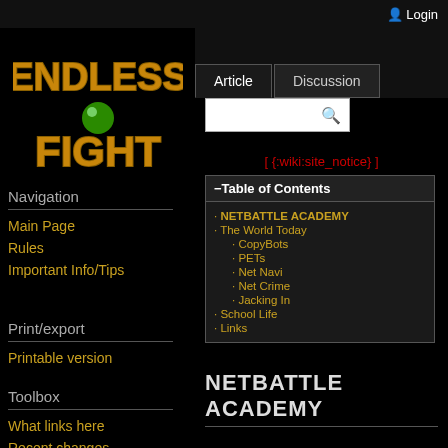Login
[Figure (logo): Endless Fight wiki logo with gold metallic text and green sphere]
Article | Discussion
[ {:wiki:site_notice} ]
| -Table of Contents |
| --- |
| · NETBATTLE ACADEMY |
| · The World Today |
|   · CopyBots |
|   · PETs |
|   · Net Navi |
|   · Net Crime |
|   · Jacking In |
| · School Life |
| · Links |
NETBATTLE ACADEMY
Navigation
Main Page
Rules
Important Info/Tips
Print/export
Printable version
Toolbox
What links here
Recent changes
Media Manager